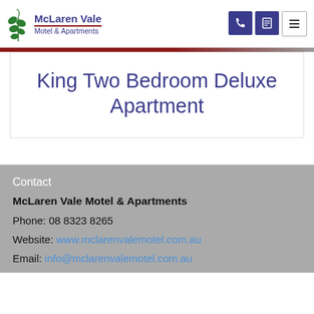[Figure (logo): McLaren Vale Motel & Apartments logo with green grape vine icon and blue text]
King Two Bedroom Deluxe Apartment
Contact
McLaren Vale Motel & Apartments
Phone: 08 8323 8265
Website: www.mclarenvalemotel.com.au
Email: info@mclarenvalemotel.com.au